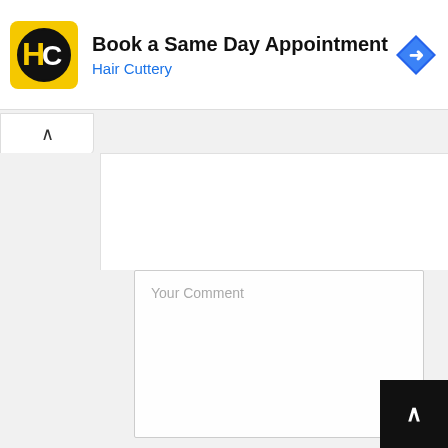[Figure (infographic): Advertisement banner for Hair Cuttery showing logo, text 'Book a Same Day Appointment', 'Hair Cuttery', and a blue navigation icon]
Leave a Reply
Your Comment